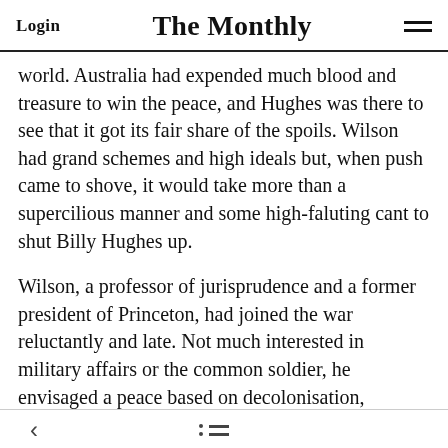Login | The Monthly | [menu icon]
world. Australia had expended much blood and treasure to win the peace, and Hughes was there to see that it got its fair share of the spoils. Wilson had grand schemes and high ideals but, when push came to shove, it would take more than a supercilious manner and some high-faluting cant to shut Billy Hughes up.
Wilson, a professor of jurisprudence and a former president of Princeton, had joined the war reluctantly and late. Not much interested in military affairs or the common soldier, he envisaged a peace based on decolonisation,
< [back arrow]  [list/menu icon]